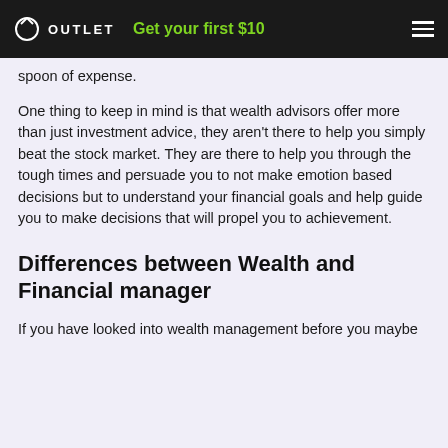OUTLET  Get your first $10
spoon of expense.
One thing to keep in mind is that wealth advisors offer more than just investment advice, they aren't there to help you simply beat the stock market. They are there to help you through the tough times and persuade you to not make emotion based decisions but to understand your financial goals and help guide you to make decisions that will propel you to achievement.
Differences between Wealth and Financial manager
If you have looked into wealth management before you maybe